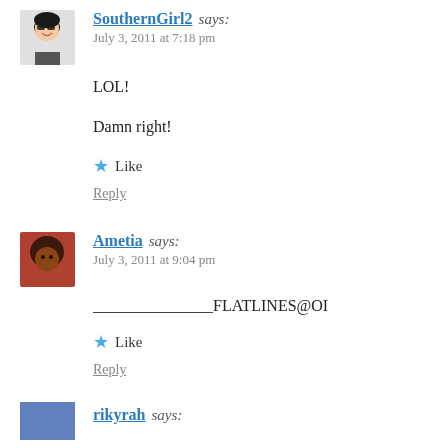SouthernGirl2 says: July 3, 2011 at 7:18 pm
LOL!
Damn right!
Like
Reply
Ametia says: July 3, 2011 at 9:04 pm
_______________FLATLINES@OI...
Like
Reply